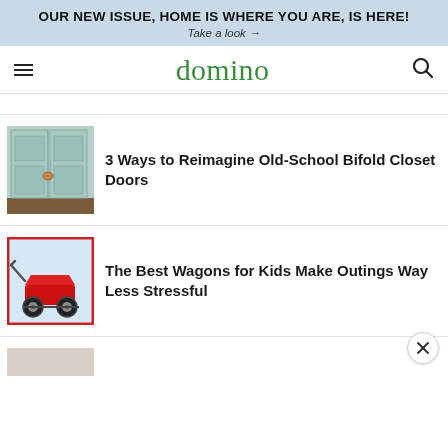OUR NEW ISSUE, HOME IS WHERE YOU ARE, IS HERE!
Take a look →
domino
3 Ways to Reimagine Old-School Bifold Closet Doors
The Best Wagons for Kids Make Outings Way Less Stressful